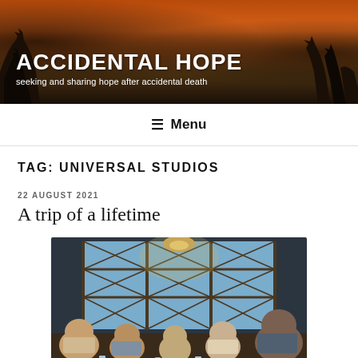ACCIDENTAL HOPE
seeking and sharing hope after accidental death
Menu
TAG: UNIVERSAL STUDIOS
22 AUGUST 2021
A trip of a lifetime
[Figure (photo): Group of people sitting at a table inside what appears to be a restaurant with large latticed windows, backlit by natural light. Five people are visible, smiling at the camera.]